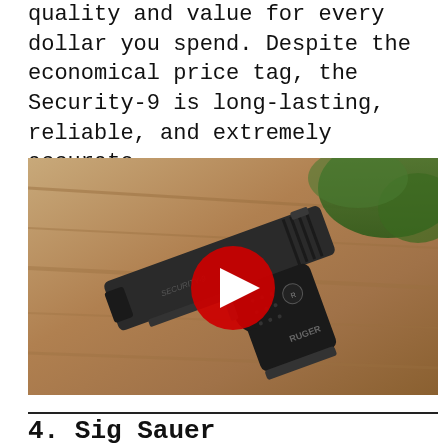quality and value for every dollar you spend. Despite the economical price tag, the Security-9 is long-lasting, reliable, and extremely accurate.
[Figure (photo): Photo of a Ruger Security-9 pistol lying on a wooden surface with green foliage in the background, overlaid with a YouTube play button (red circle with white triangle).]
4. Sig Sauer